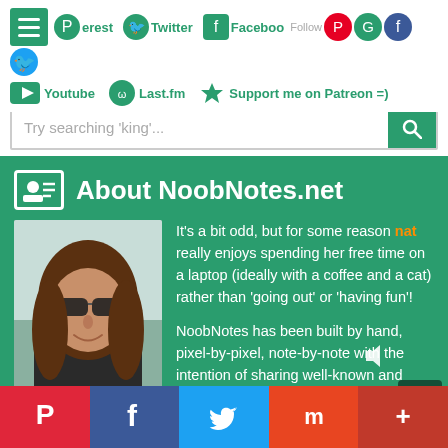Pinterest | Twitter | Facebook | Follow | Youtube | Last.fm | Support me on Patreon =)
Try searching 'king'...
About NoobNotes.net
[Figure (photo): Photo of a woman with long brown hair and sunglasses, smiling, wearing a dark jacket outdoors]
It's a bit odd, but for some reason nat really enjoys spending her free time on a laptop (ideally with a coffee and a cat) rather than 'going out' or 'having fun'!
NoobNotes has been built by hand, pixel-by-pixel, note-by-note with the intention of sharing well-known and loved songs in
Pinterest | Facebook | Twitter | Mix | More